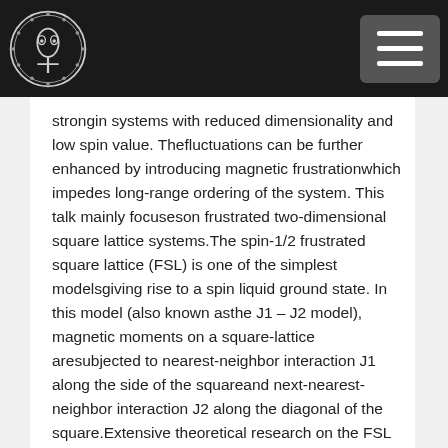strongin systems with reduced dimensionality and low spin value. Thefluctuations can be further enhanced by introducing magnetic frustrationwhich impedes long-range ordering of the system. This talk mainly focuseson frustrated two-dimensional square lattice systems.The spin-1/2 frustrated square lattice (FSL) is one of the simplest modelsgiving rise to a spin liquid ground state. In this model (also known asthe J1 – J2 model), magnetic moments on a square-lattice aresubjected to nearest-neighbor interaction J1 along the side of the squareand next-nearest-neighbor interaction J2 along the diagonal of the square.Extensive theoretical research on the FSL model has been done in the pastand a rich phase diagram has been